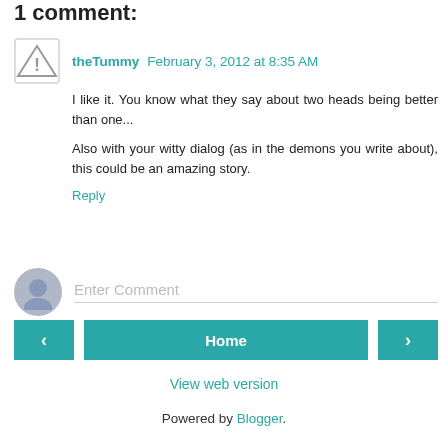1 comment:
theTummy February 3, 2012 at 8:35 AM
I like it. You know what they say about two heads being better than one...
Also with your witty dialog (as in the demons you write about), this could be an amazing story.
Reply
Enter Comment
Home
View web version
Powered by Blogger.